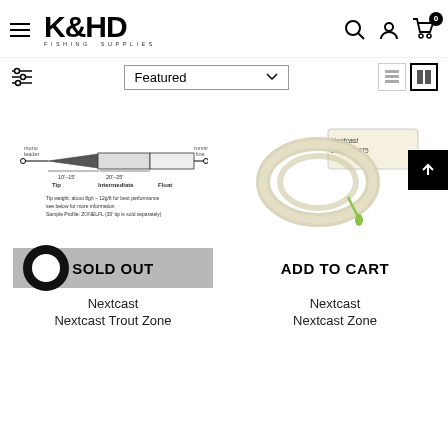K&HD FISHING SUPPLIES
Featured
[Figure (screenshot): Product image: fishing line diagram with Tip, Intermediate, Float sections labeled]
[Figure (photo): Product image: coiled clear fishing line with box labeled Nextcast Zone VT-475]
SOLD OUT
ADD TO CART
Nextcast
Nextcast
Nextcast Trout Zone
Nextcast Zone